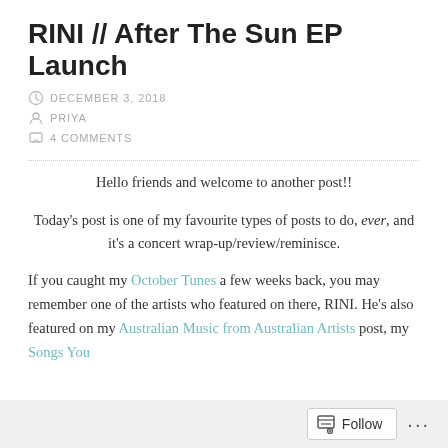RINI // After The Sun EP Launch
DECEMBER 3, 2018
PRIYA
4 COMMENTS
Hello friends and welcome to another post!!
Today's post is one of my favourite types of posts to do, ever, and it's a concert wrap-up/review/reminisce.
If you caught my October Tunes a few weeks back, you may remember one of the artists who featured on there, RINI. He's also featured on my Australian Music from Australian Artists post, my Songs You...